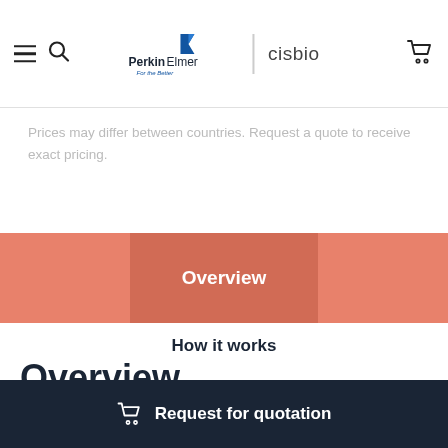PerkinElmer | cisbio
Prices may differ between countries. Request a quote to receive exact pricing.
Overview
How it works
Overview
Simplified Pathway
Phospho-ERK assay kits are designed for the
Request for quotation